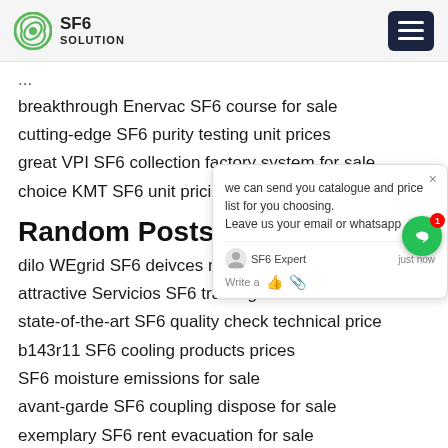SF6 SOLUTION
...
breakthrough Enervac SF6 course for sale
cutting-edge SF6 purity testing unit prices
great VPI SF6 collection factory system for sale
choice KMT SF6 unit pricing
Random Posts:
dilo WEgrid SF6 deivces manufacturers
attractive Servicios SF6 training cost
state-of-the-art SF6 quality check technical price
b143r11 SF6 cooling products prices
SF6 moisture emissions for sale
avant-garde SF6 coupling dispose for sale
exemplary SF6 rent evacuation for sale
certified SF6 purity testing equipments prices